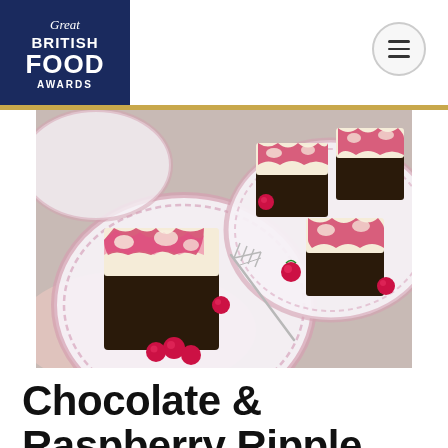Great British Food Awards
[Figure (photo): Overhead photograph of chocolate brownie bars topped with raspberry ripple cheesecake swirl, served on decorative pink floral china plates with fresh raspberries and a silver fork, on a light background.]
Chocolate & Raspberry Ripple Cheesecake